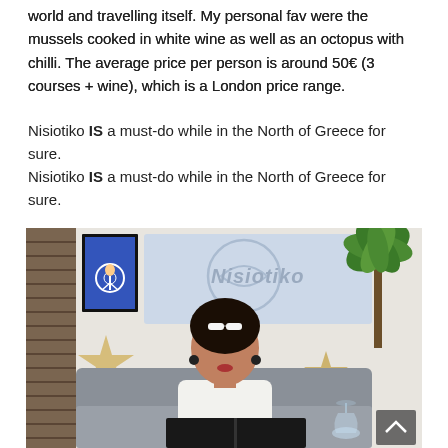world and travelling itself. My personal fav were the mussels cooked in white wine as well as an octopus with chilli. The average price per person is around 50€ (3 courses + wine), which is a London price range.
Nisiotiko IS a must-do while in the North of Greece for sure.
[Figure (photo): Interior of Nisiotiko restaurant showing a woman with dark hair and sunglasses on her head, wearing a white top, seated on a grey sofa looking at a menu. Behind her is the Nisiotiko logo/sign on the wall, two starfish decorations, a framed cycling poster, and a green palm plant on the right.]